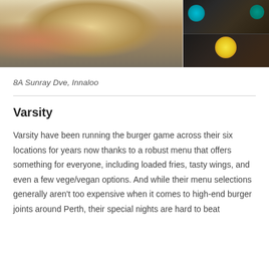[Figure (photo): Collage of food photos: left side shows a bowl of Asian noodle dish with chopsticks and a green drink; right side shows two panels of Japanese food including bento boxes and sushi/tuna on decorative plates.]
8A Sunray Dve, Innaloo
Varsity
Varsity have been running the burger game across their six locations for years now thanks to a robust menu that offers something for everyone, including loaded fries, tasty wings, and even a few vege/vegan options. And while their menu selections generally aren't too expensive when it comes to high-end burger joints around Perth, their special nights are hard to beat